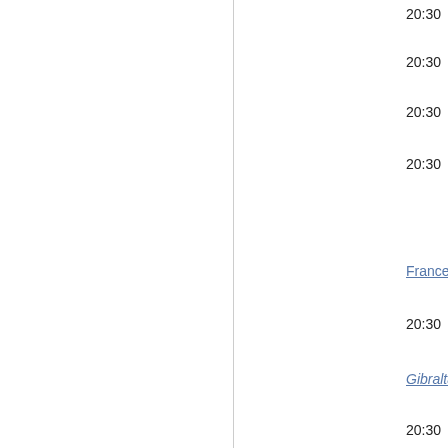20:30
20:30   It...
20:30   Ge...
20:30   Juv...
France , Lig...
20:30
Gibraltar , P...
20:30
Ireland , Pre...
20:30
Italy , Serie ...
20:30
England , F...
20:45
England , P...